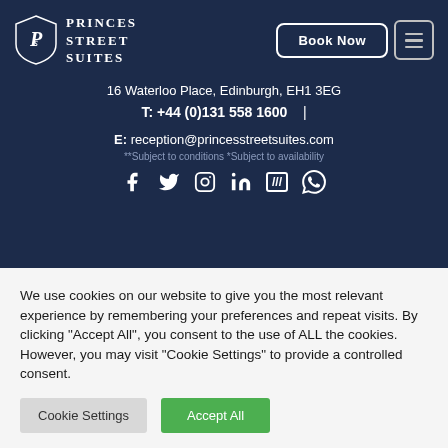[Figure (logo): Princes Street Suites logo with shield emblem and hotel name in white text on dark navy background]
16 Waterloo Place, Edinburgh, EH1 3EG
T: +44 (0)131 558 1600  |
E: reception@princesstreetsuites.com
**Subject to conditions *Subject to availability
[Figure (other): Social media icons row: Facebook, Twitter, Instagram, LinkedIn, What3Words, WhatsApp]
We use cookies on our website to give you the most relevant experience by remembering your preferences and repeat visits. By clicking “Accept All”, you consent to the use of ALL the cookies. However, you may visit "Cookie Settings" to provide a controlled consent.
Cookie Settings
Accept All